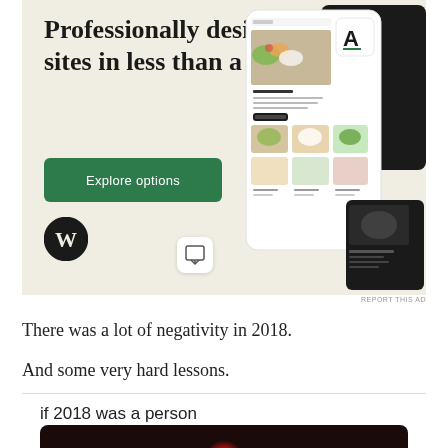[Figure (screenshot): WordPress advertisement banner with beige/cream background showing 'Professionally designed sites in less than a week' headline, green 'Explore options' button, WordPress logo, and website mockup screenshots on the right side.]
REPORT THIS AD
There was a lot of negativity in 2018.
And some very hard lessons.
if 2018 was a person
[Figure (photo): Dark photo showing a person partially visible with a red light glow in the background.]